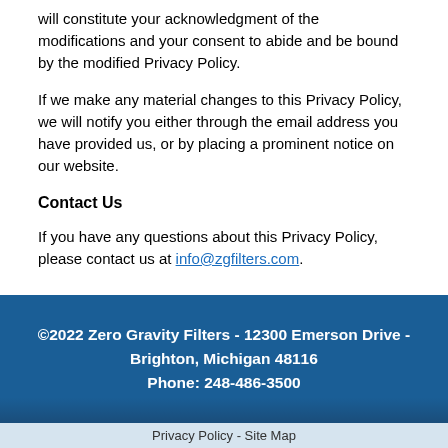will constitute your acknowledgment of the modifications and your consent to abide and be bound by the modified Privacy Policy.
If we make any material changes to this Privacy Policy, we will notify you either through the email address you have provided us, or by placing a prominent notice on our website.
Contact Us
If you have any questions about this Privacy Policy, please contact us at info@zgfilters.com.
©2022 Zero Gravity Filters - 12300 Emerson Drive - Brighton, Michigan 48116 Phone: 248-486-3500
Privacy Policy - Site Map